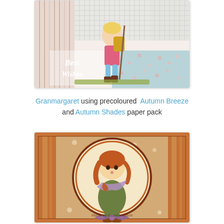[Figure (photo): Handmade greeting card featuring a cartoon girl hiking with a backpack and walking stick, with 'Best Wishes' text, on patterned paper background with floral and stripe designs]
Granmargaret using precoloured Autumn Breeze and Autumn Shades paper pack
[Figure (photo): Handmade card featuring a circular vignette of a cartoon autumn girl holding a leaf, surrounded by autumn-themed patterned paper in orange and floral designs, with 'Made by Granmargaret' watermark]